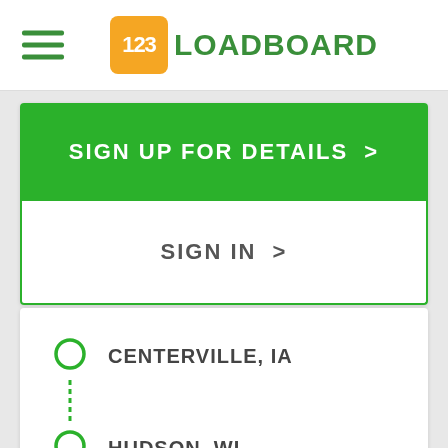[Figure (logo): 123Loadboard logo with orange rounded square containing '123' and green text 'LOADBOARD']
SIGN UP FOR DETAILS >
SIGN IN >
CENTERVILLE, IA
HUDSON, WI